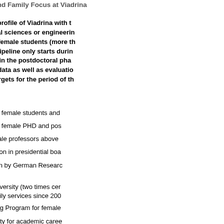Gender Equality and Family Focus at Viadrina
Due to the special profile of Viadrina with the absence of subjects like natural sciences or engineering, Viadrina has a high proportion of female students (more than 60%) up to Master. The leaky pipeline only starts during the doctorate in Cultural Studies in the postdoctoral phase. Based on relevant data as well as evaluations of measures in order to develop targets for the period of the
Strengths
high proportion of female students and
high proportion of female PHD and pos
proportion of female professors above
balanced proportion in presidential boa
positive evaluation by German Research equality ranking
family-friendly university (two times cer Hochschule", family services since 200
Viadrina Mentoring Program for female
higher predictability for academic caree child care (for third-party-funded resear
human resources development for aca
anonymous application procedure for n
partly gender budgeting (rewarding the